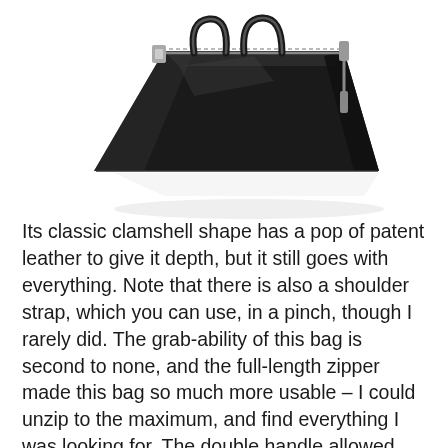[Figure (photo): A black patent leather clamshell handbag photographed from a three-quarter rear angle on a white background, showing zipper hardware and double handles.]
Its classic clamshell shape has a pop of patent leather to give it depth, but it still goes with everything. Note that there is also a shoulder strap, which you can use, in a pinch, though I rarely did. The grab-ability of this bag is second to none, and the full-length zipper made this bag so much more usable – I could unzip to the maximum, and find everything I was looking for. The double handle allowed me to hold the bag securely while I was looking, and the shape allowed me to keep the zipper somewhat open without spilling out its contents. But this bag was also desirable because of its black patent sheen and texture, and its brand